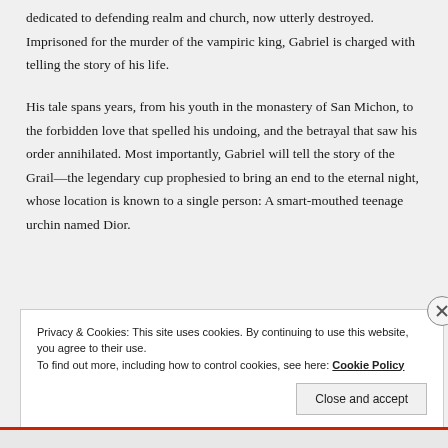dedicated to defending realm and church, now utterly destroyed. Imprisoned for the murder of the vampiric king, Gabriel is charged with telling the story of his life.
His tale spans years, from his youth in the monastery of San Michon, to the forbidden love that spelled his undoing, and the betrayal that saw his order annihilated. Most importantly, Gabriel will tell the story of the Grail—the legendary cup prophesied to bring an end to the eternal night, whose location is known to a single person: A smart-mouthed teenage urchin named Dior.
Privacy & Cookies: This site uses cookies. By continuing to use this website, you agree to their use. To find out more, including how to control cookies, see here: Cookie Policy
Close and accept